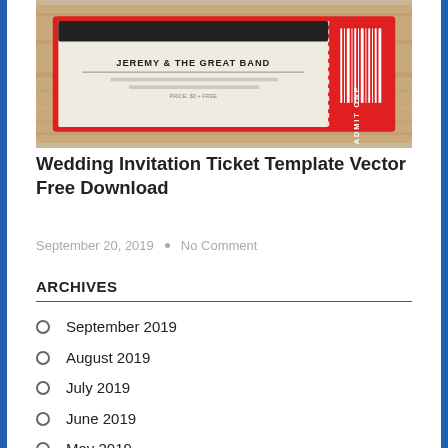[Figure (photo): A wedding invitation designed as a concert/event ticket. Red border with red stub on right side reading 'ADMIT ONE' vertically, white main body with text 'JEREMY & THE GREAT BAND', barcode on red stub, on wooden background.]
Wedding Invitation Ticket Template Vector Free Download
September 20, 2019 • No Comment
ARCHIVES
September 2019
August 2019
July 2019
June 2019
May 2019
April 2019
March 2019